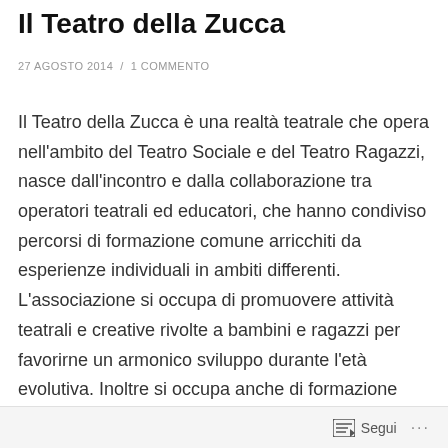Il Teatro della Zucca
27 AGOSTO 2014 / 1 COMMENTO
Il Teatro della Zucca è una realtà teatrale che opera nell'ambito del Teatro Sociale e del Teatro Ragazzi, nasce dall'incontro e dalla collaborazione tra operatori teatrali ed educatori, che hanno condiviso percorsi di formazione comune arricchiti da esperienze individuali in ambiti differenti. L'associazione si occupa di promuovere attività teatrali e creative rivolte a bambini e ragazzi per favorirne un armonico sviluppo durante l'età evolutiva. Inoltre si occupa anche di formazione degli adulti e degli Operatori Giovanili, in particolare attraverso corsi di Teatro dell'Oppresso e corsi per chi vuole a sua volta insegnare teatro. Segue
Segui ...